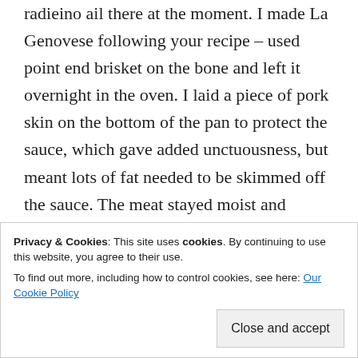radieino ail there at the moment. I made La Genovese following your recipe – used point end brisket on the bone and left it overnight in the oven. I laid a piece of pork skin on the bottom of the pan to protect the sauce, which gave added unctuousness, but meant lots of fat needed to be skimmed off the sauce. The meat stayed moist and tender but frankly the sauce is so rich (my wife, eating it for the first time, said it reminded her slightly of onion marmalade) that a bowl
Privacy & Cookies: This site uses cookies. By continuing to use this website, you agree to their use.
To find out more, including how to control cookies, see here: Our Cookie Policy
Close and accept
easily so is well suited to this. Those